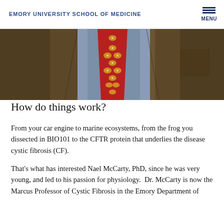EMORY UNIVERSITY SCHOOL OF MEDICINE
[Figure (photo): Close-up photograph of a person wearing a brown tweed jacket and a red patterned tie with gold diamond shapes and dots, with a blue shirt visible underneath.]
How do things work?
From your car engine to marine ecosystems, from the frog you dissected in BIO101 to the CFTR protein that underlies the disease cystic fibrosis (CF).
That's what has interested Nael McCarty, PhD, since he was very young, and led to his passion for physiology.  Dr. McCarty is now the Marcus Professor of Cystic Fibrosis in the Emory Department of